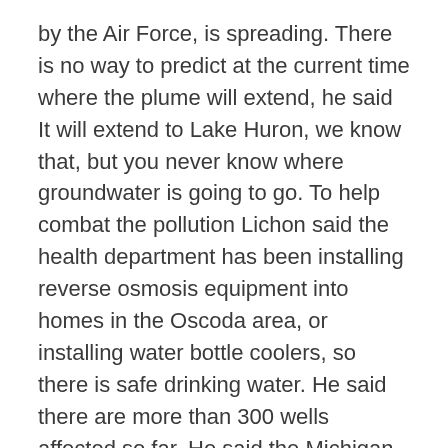by the Air Force, is spreading. There is no way to predict at the current time where the plume will extend, he said It will extend to Lake Huron, we know that, but you never know where groundwater is going to go. To help combat the pollution Lichon said the health department has been installing reverse osmosis equipment into homes in the Oscoda area, or installing water bottle coolers, so there is safe drinking water. He said there are more than 300 wells affected so far. He said the Michigan Department of Environmental Quality is sinking test wells in areas and taking water samples. Lichon said right now DHD No. 2s role in the community is to help residents find clean water sources. Either they are getting the reverse osmosis system most people are taking that system over the having the water cooler put in their homes and we work with them, he said. We attend meetings and we are kind of a go between with the town his and the state that they has a kind of...